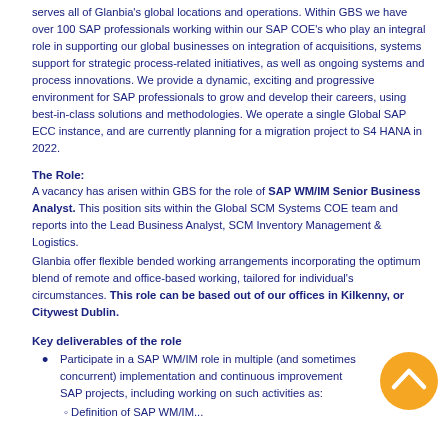serves all of Glanbia's global locations and operations. Within GBS we have over 100 SAP professionals working within our SAP COE's who play an integral role in supporting our global businesses on integration of acquisitions, systems support for strategic process-related initiatives, as well as ongoing systems and process innovations. We provide a dynamic, exciting and progressive environment for SAP professionals to grow and develop their careers, using best-in-class solutions and methodologies. We operate a single Global SAP ECC instance, and are currently planning for a migration project to S4 HANA in 2022.
The Role:
A vacancy has arisen within GBS for the role of SAP WM/IM Senior Business Analyst. This position sits within the Global SCM Systems COE team and reports into the Lead Business Analyst, SCM Inventory Management & Logistics.
Glanbia offer flexible bended working arrangements incorporating the optimum blend of remote and office-based working, tailored for individual's circumstances. This role can be based out of our offices in Kilkenny, or Citywest Dublin.
Key deliverables of the role
Participate in a SAP WM/IM role in multiple (and sometimes concurrent) implementation and continuous improvement SAP projects, including working on such activities as:
Definition of SAP WM/IM...